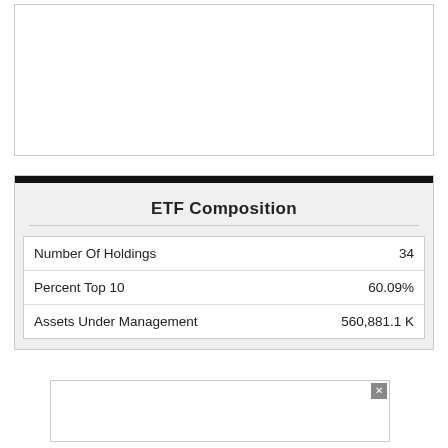ETF Composition
|  |  |
| --- | --- |
| Number Of Holdings | 34 |
| Percent Top 10 | 60.09% |
| Assets Under Management | 560,881.1 K |